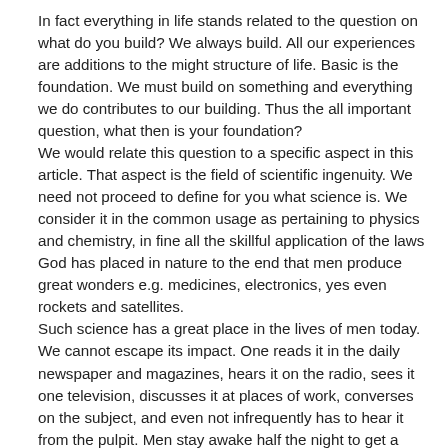In fact everything in life stands related to the question on what do you build? We always build. All our experiences are additions to the might structure of life. Basic is the foundation. We must build on something and everything we do contributes to our building. Thus the all important question, what then is your foundation?
We would relate this question to a specific aspect in this article. That aspect is the field of scientific ingenuity. We need not proceed to define for you what science is. We consider it in the common usage as pertaining to physics and chemistry, in fine all the skillful application of the laws God has placed in nature to the end that men produce great wonders e.g. medicines, electronics, yes even rockets and satellites.
Such science has a great place in the lives of men today. We cannot escape its impact. One reads it in the daily newspaper and magazines, hears it on the radio, sees it one television, discusses it at places of work, converses on the subject, and even not infrequently has to hear it from the pulpit. Men stay awake half the night to get a glimpse of Atlas, congressional committees interview leaders to see if we are gaining on Russia, children have directed their attention by some mysterious means from guns to